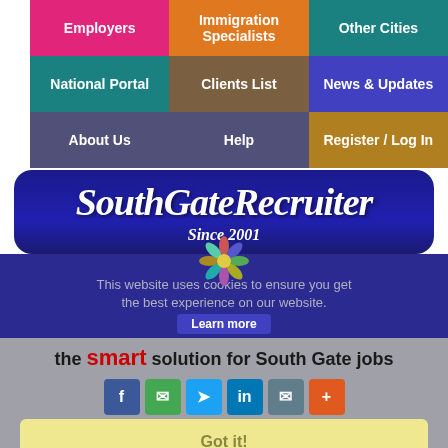[Figure (screenshot): Navigation grid with 9 colored cells: Employers (pink), Immigration Specialists (orange), Other Cities (teal), National Portal (teal), Clients List (olive), News & Updates (blue), About Us (slate), Help (slate), Register / Log In (gold)]
SouthGateRecruiter
Since 2001
This website uses cookies to ensure you get the best experience on our website.
the smart solution for South Gate jobs
[Figure (infographic): Social media share buttons: Facebook, Messenger, Twitter, LinkedIn, Email, Plus]
Got it!